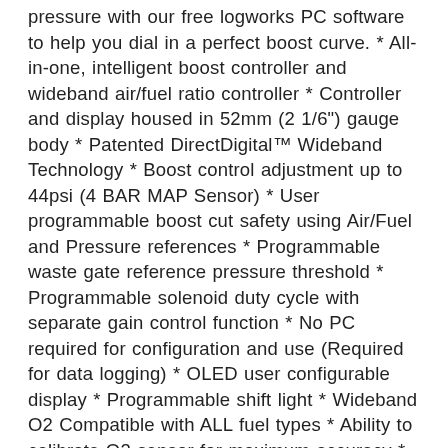pressure with our free logworks PC software to help you dial in a perfect boost curve. * All-in-one, intelligent boost controller and wideband air/fuel ratio controller * Controller and display housed in 52mm (2 1/6") gauge body * Patented DirectDigital™ Wideband Technology * Boost control adjustment up to 44psi (4 BAR MAP Sensor) * User programmable boost cut safety using Air/Fuel and Pressure references * Programmable waste gate reference pressure threshold * Programmable solenoid duty cycle with separate gain control function * No PC required for configuration and use (Required for data logging) * OLED user configurable display * Programmable shift light * Wideband O2 Compatible with ALL fuel types * Ability to calibrate O2 sensor for maximum accuracy * One configurable linear 0-5v analog output * 4 channels of log-able data (MAP, RPM, A/F, WG duty) * Accessory O2 sensor cable lengths sold separately: 3ft, 8ft (Included), and 18ft * Positive lock connectors for all connections * Innovate MTS serialIn/out (for use